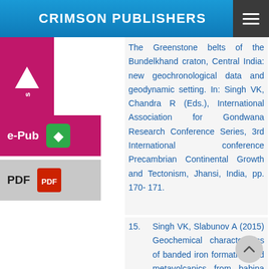CRIMSON PUBLISHERS
The Greenstone belts of the Bundelkhand craton, Central India: new geochronological data and geodynamic setting. In: Singh VK, Chandra R (Eds.), International Association for Gondwana Research Conference Series, 3rd International conference Precambrian Continental Growth and Tectonism, Jhansi, India, pp. 170- 171.
15. Singh VK, Slabunov A (2015) Geochemical characteristics of banded iron formation and metavolcanics from babina greenstone belt of the Bundelkhand Craton, Central India,